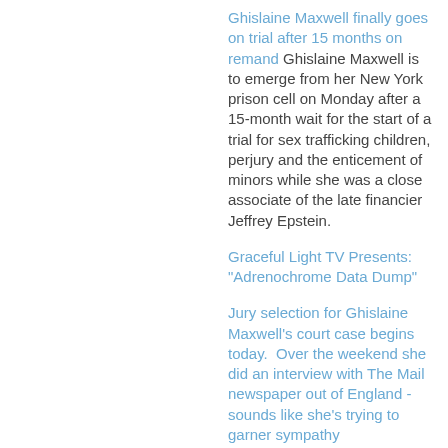Ghislaine Maxwell finally goes on trial after 15 months on remand Ghislaine Maxwell is to emerge from her New York prison cell on Monday after a 15-month wait for the start of a trial for sex trafficking children, perjury and the enticement of minors while she was a close associate of the late financier Jeffrey Epstein.
Graceful Light TV Presents: "Adrenochrome Data Dump"
Jury selection for Ghislaine Maxwell's court case begins today. Over the weekend she did an interview with The Mail newspaper out of England - sounds like she's trying to garner sympathy